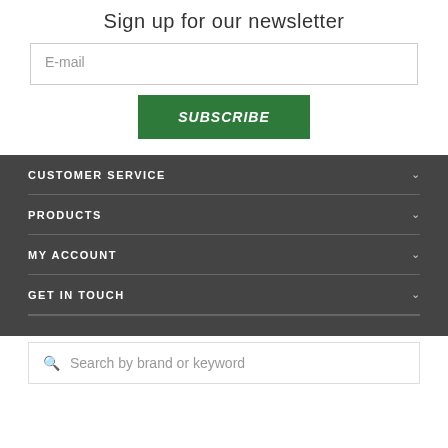Sign up for our newsletter
E-mail
SUBSCRIBE
CUSTOMER SERVICE
PRODUCTS
MY ACCOUNT
GET IN TOUCH
Search by brand or keyword